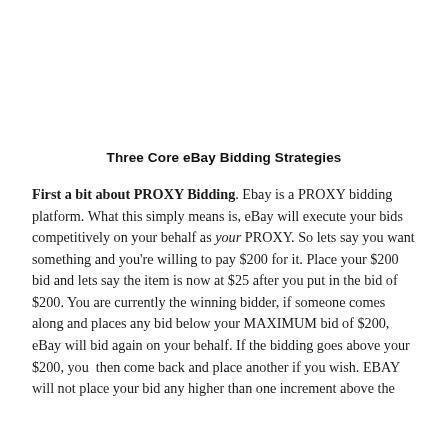Three Core eBay Bidding Strategies
First a bit about PROXY Bidding. Ebay is a PROXY bidding platform. What this simply means is, eBay will execute your bids competitively on your behalf as your PROXY. So lets say you want something and you're willing to pay $200 for it. Place your $200 bid and lets say the item is now at $25 after you put in the bid of $200. You are currently the winning bidder, if someone comes along and places any bid below your MAXIMUM bid of $200, eBay will bid again on your behalf. If the bidding goes above your $200, you  then come back and place another if you wish. EBAY will not place your bid any higher than one increment above the